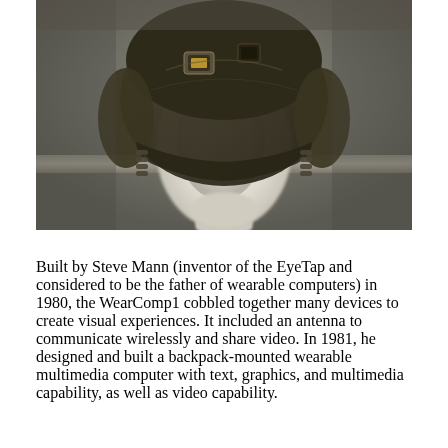[Figure (photo): A white featureless mannequin head wearing a dark military-style helmet with electronic components and a camera/eyepiece mounted on the front. The background is a blurred grey wall.]
Built by Steve Mann (inventor of the EyeTap and considered to be the father of wearable computers) in 1980, the WearComp1 cobbled together many devices to create visual experiences. It included an antenna to communicate wirelessly and share video. In 1981, he designed and built a backpack-mounted wearable multimedia computer with text, graphics, and multimedia capability, as well as video capability.